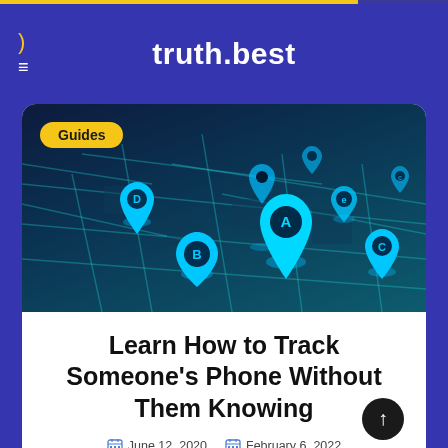truth.best
[Figure (illustration): A dark blue digital map with glowing cyan location pin markers labeled A, B, C, D, e, and a smaller unlabeled pin, showing city street grid from an angled perspective view]
Guides
Learn How to Track Someone's Phone Without Them Knowing
June 12, 2020   February 6, 2022